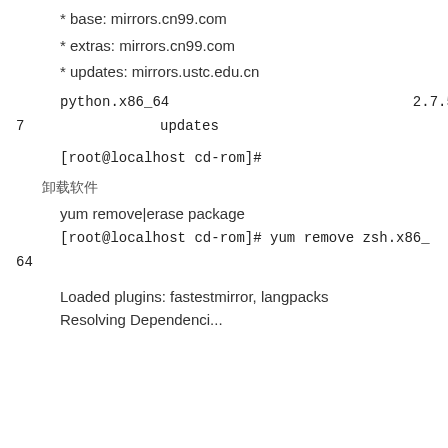* base: mirrors.cn99.com
* extras: mirrors.cn99.com
* updates: mirrors.ustc.edu.cn
python.x86_64                          2.7.5-90.el7                   updates
[root@localhost cd-rom]#
卸载软件
yum remove|erase package
[root@localhost cd-rom]# yum remove zsh.x86_64
Loaded plugins: fastestmirror, langpacks
Resolving Dependencies